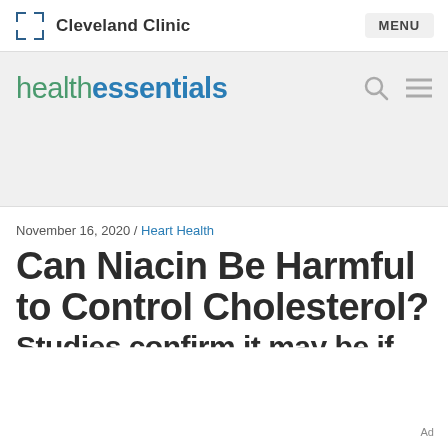Cleveland Clinic | MENU
[Figure (logo): Cleveland Clinic logo with bracket icon and 'Cleveland Clinic' text, plus MENU button on right]
[Figure (logo): health essentials logo with search and hamburger menu icons]
November 16, 2020 / Heart Health
Can Niacin Be Harmful to Control Cholesterol?
Ad